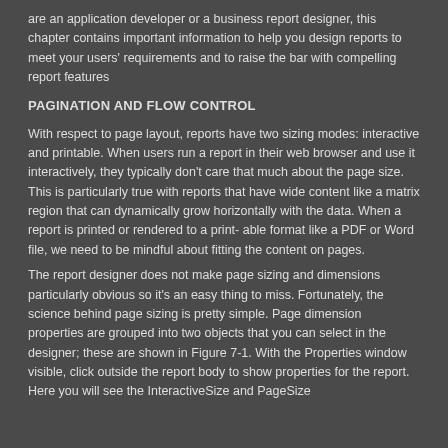are an application developer or a business report designer, this chapter contains important information to help you design reports to meet your users' requirements and to raise the bar with compelling report features
PAGINATION AND FLOW CONTROL
With respect to page layout, reports have two sizing modes: interactive and printable. When users run a report in their web browser and use it interactively, they typically don't care that much about the page size. This is particularly true with reports that have wide content like a matrix region that can dynamically grow horizontally with the data. When a report is printed or rendered to a print- able format like a PDF or Word file, we need to be mindful about fitting the content on pages.
The report designer does not make page sizing and dimensions particularly obvious so it's an easy thing to miss. Fortunately, the science behind page sizing is pretty simple. Page dimension properties are grouped into two objects that you can select in the designer; these are shown in Figure 7-1. With the Properties window visible, click outside the report body to show properties for the report. Here you will see the InteractiveSize and PageSize